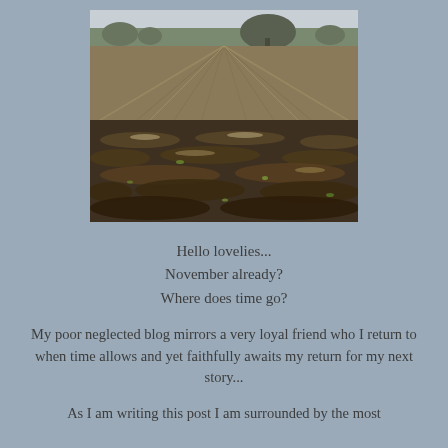[Figure (photo): Close-up photograph of a plowed agricultural field with rows of dark soil and clods stretching into the distance, with bare trees on the horizon under an overcast sky.]
Hello lovelies...
November already?
Where does time go?
My poor neglected blog mirrors a very loyal friend who I return to when time allows and yet faithfully awaits my return for my next story...
As I am writing this post I am surrounded by the most